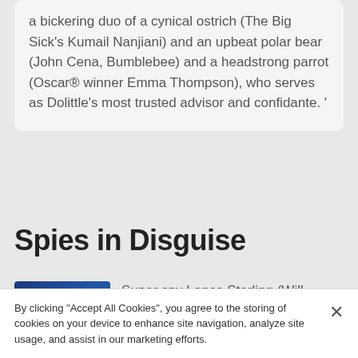a bickering duo of a cynical ostrich (The Big Sick's Kumail Nanjiani) and an upbeat polar bear (John Cena, Bumblebee) and a headstrong parrot (Oscar® winner Emma Thompson), who serves as Dolittle's most trusted advisor and confidante. '
Spies in Disguise
[Figure (photo): Movie poster for Spies in Disguise showing a suited character on a blue background with text 'SUPER SPY']
Super spy Lance Sterling (Will Smith) and scientist Walter
By clicking "Accept All Cookies", you agree to the storing of cookies on your device to enhance site navigation, analyze site usage, and assist in our marketing efforts.